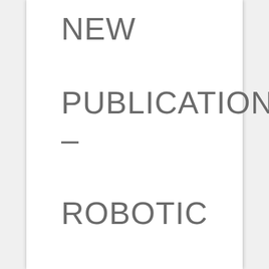NEW PUBLICATION – ROBOTIC NAVIGATION TO SUBCORTICAL NEURAL TISSUE FOR INTRACELLULAR